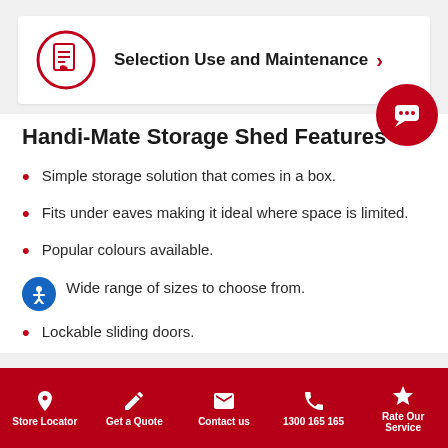[Figure (other): PDF document icon in red circle with link to Selection Use and Maintenance document]
Selection Use and Maintenance ›
Handi-Mate Storage Shed Features
Simple storage solution that comes in a box.
Fits under eaves making it ideal where space is limited.
Popular colours available.
Wide range of sizes to choose from.
Lockable sliding doors.
Store Locator  Get a Quote  Contact us  1300 165 165  Rate Our Service